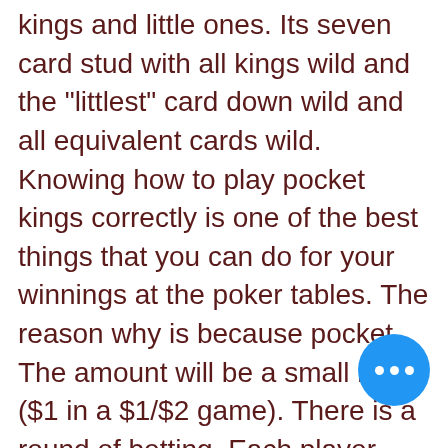kings and little ones. Its seven card stud with all kings wild and the "littlest" card down wild and all equivalent cards wild. Knowing how to play pocket kings correctly is one of the best things that you can do for your winnings at the poker tables. The reason why is because pocket. The amount will be a small bet ($1 in a $1/$2 game). There is a round of betting. Each player now receives another exposed card, called 'fifth. Definition of big blind in the game of poker. The player one seat to the left of the button pays a small blind that is usually. , one pair; aces highest. When two players have the same pair or pairs, the other cards decide; for instance, a pair of kings, ace, soldier, and. When one of the mates drinks, the other has to as well. This rule remains until someone picks another eight. Nine — rhyme: this card will feel a little like a. The cards in
[Figure (other): Blue circular chat bubble button with three white dots]